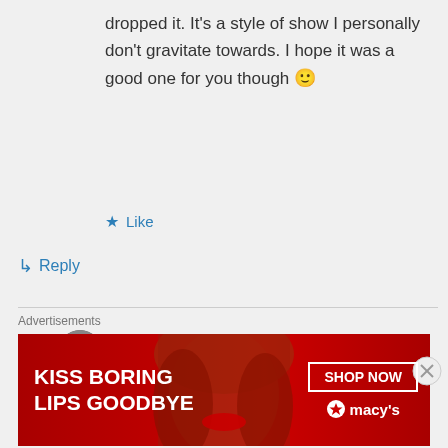dropped it. It's a style of show I personally don't gravitate towards. I hope it was a good one for you though 🙂
★ Like
↳ Reply
dramajunkieblog on December 14, 2018 at 11:51 am
I haven't watched and not interested as of yet. I was just wondering because I heard a lot about it. I also
Advertisements
[Figure (photo): Macy's advertisement banner: 'KISS BORING LIPS GOODBYE' with SHOP NOW button and Macy's logo, featuring a model with red lips]